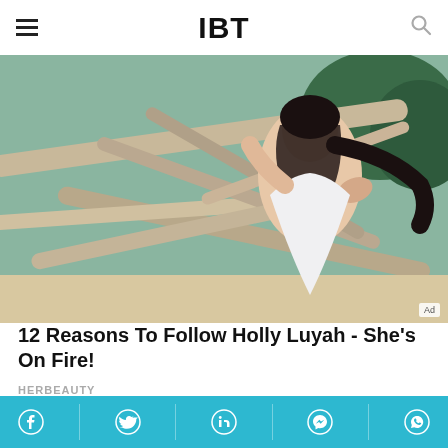IBT
[Figure (photo): Woman in white swimsuit posing against driftwood on a beach, with trees in background. Ad badge in bottom right corner.]
12 Reasons To Follow Holly Luyah - She's On Fire!
HERBEAUTY
[Figure (photo): Partial view of a person's face, dark hair, against a gray background.]
Social share bar: Facebook, Twitter, LinkedIn, Messenger, WhatsApp